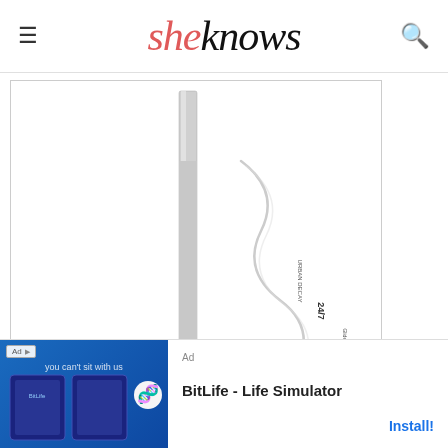sheknows
[Figure (photo): Urban Decay 24/7 Glide-On Eye Pencil product photo showing a silver eyeliner pencil with a white swirl/swatch on white background]
Image: Sephora
[Figure (screenshot): Advertisement banner for BitLife - Life Simulator app with blue background showing game screenshots and Install! button]